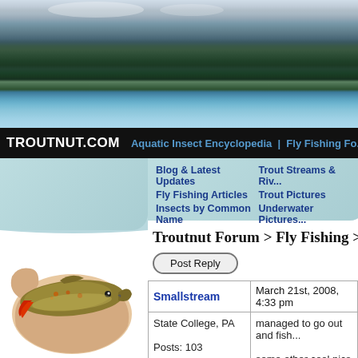[Figure (photo): Mountain lake landscape header banner with pine trees and blue water]
TROUTNUT.COM | Aquatic Insect Encyclopedia | Fly Fishing Fo...
[Figure (photo): Navigation dropdown menu with teal rounded background: Blog & Latest Updates, Fly Fishing Articles, Insects by Common Name, Trout Streams & Riv..., Trout Pictures, Underwater Pictures...]
[Figure (photo): Hand holding a brook trout fish with colorful orange-red fins]
Troutnut Forum > Fly Fishing >
Post Reply
| Smallstream | March 21st, 2008, 4:33 pm |
| --- | --- |
| State College, PA

Posts: 103 | managed to go out and fish...

some other cool pics of the... |